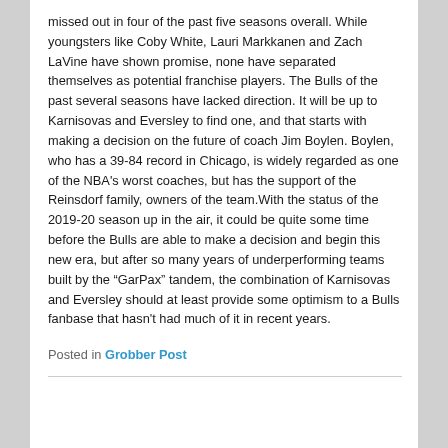missed out in four of the past five seasons overall. While youngsters like Coby White, Lauri Markkanen and Zach LaVine have shown promise, none have separated themselves as potential franchise players. The Bulls of the past several seasons have lacked direction. It will be up to Karnisovas and Eversley to find one, and that starts with making a decision on the future of coach Jim Boylen. Boylen, who has a 39-84 record in Chicago, is widely regarded as one of the NBA's worst coaches, but has the support of the Reinsdorf family, owners of the team.With the status of the 2019-20 season up in the air, it could be quite some time before the Bulls are able to make a decision and begin this new era, but after so many years of underperforming teams built by the “GarPax” tandem, the combination of Karnisovas and Eversley should at least provide some optimism to a Bulls fanbase that hasn't had much of it in recent years.
Posted in Grobber Post